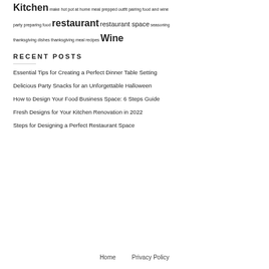Kitchen make hot pot at home meal prepped outfit pairing food and wine party preparing food restaurant restaurant space seasoning thanksgiving dishes thanksgiving meal recipes Wine
RECENT POSTS
Essential Tips for Creating a Perfect Dinner Table Setting
Delicious Party Snacks for an Unforgettable Halloween
How to Design Your Food Business Space: 6 Steps Guide
Fresh Designs for Your Kitchen Renovation in 2022
Steps for Designing a Perfect Restaurant Space
Home    Privacy Policy